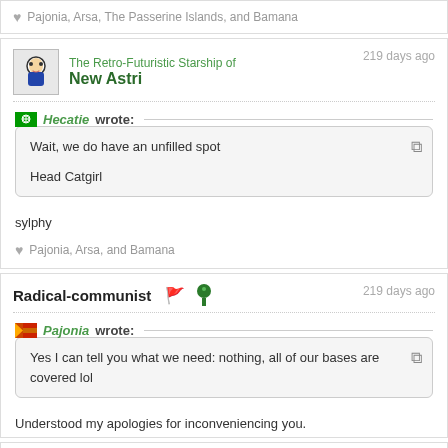♥ Pajonia, Arsa, The Passerine Islands, and Bamana
The Retro-Futuristic Starship of New Astri — 219 days ago
Hecatie wrote: Wait, we do have an unfilled spot

Head Catgirl
sylphy
♥ Pajonia, Arsa, and Bamana
Radical-communist 🌲 — 219 days ago
Pajonia wrote: Yes I can tell you what we need: nothing, all of our bases are covered lol
Understood my apologies for inconveniencing you.
The The Afghani Kingdom of of Franc-Slovenia — 219 days ago